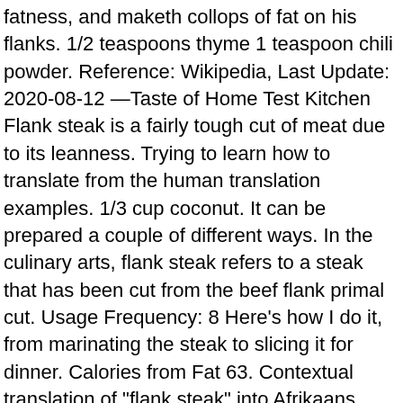fatness, and maketh collops of fat on his flanks. 1/2 teaspoons thyme 1 teaspoon chili powder. Reference: Wikipedia, Last Update: 2020-08-12 —Taste of Home Test Kitchen Flank steak is a fairly tough cut of meat due to its leanness. Trying to learn how to translate from the human translation examples. 1/3 cup coconut. It can be prepared a couple of different ways. In the culinary arts, flank steak refers to a steak that has been cut from the beef flank primal cut. Usage Frequency: 8 Here's how I do it, from marinating the steak to slicing it for dinner. Calories from Fat 63. Contextual translation of "flank steak" into Afrikaans. Reference: Anonymous, Last Update: 2014-10-26 , worstel vasberade deur die kronkelende seestraat. This marinade recipe is flavored with soy sauce, honey, lime, and garlic, tenderizing the meat while adding mouth-watering flavors. French butchers refer to it as bavette, which means "bib".Similarly, it is known in Brazil as fraldinha (literally: "little diaper"). Quality: +8 definitions . Flank steak is a cut of steak that comes from the flank of the cow, which is right below the loin.